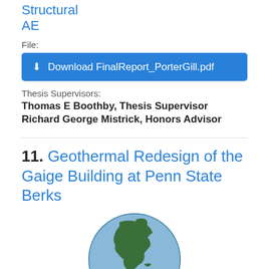Structural
AE
File:
⬇ Download FinalReport_PorterGill.pdf
Thesis Supervisors:
Thomas E Boothby, Thesis Supervisor
Richard George Mistrick, Honors Advisor
11. Geothermal Redesign of the Gaige Building at Penn State Berks
[Figure (illustration): Globe illustration showing the Americas (North and South America) with green landmasses on a light blue background.]